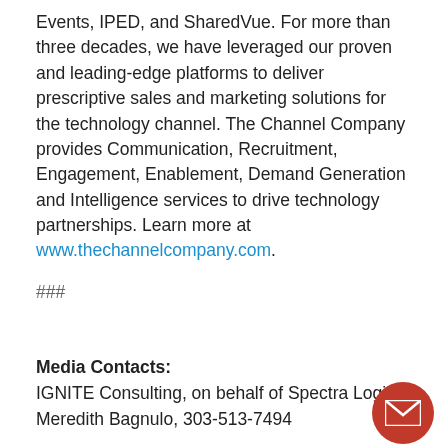Events, IPED, and SharedVue. For more than three decades, we have leveraged our proven and leading-edge platforms to deliver prescriptive sales and marketing solutions for the technology channel. The Channel Company provides Communication, Recruitment, Engagement, Enablement, Demand Generation and Intelligence services to drive technology partnerships. Learn more at www.thechannelcompany.com.
###
Media Contacts:
IGNITE Consulting, on behalf of Spectra Logic
Meredith Bagnulo, 303-513-7494